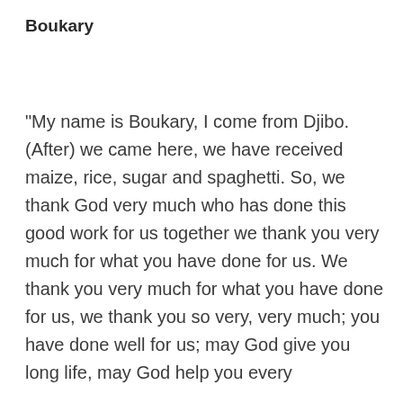Boukary
“My name is Boukary, I come from Djibo. (After) we came here, we have received maize, rice, sugar and spaghetti. So, we thank God very much who has done this good work for us together we thank you very much for what you have done for us. We thank you very much for what you have done for us, we thank you so very, very much; you have done well for us; may God give you long life, may God help you every